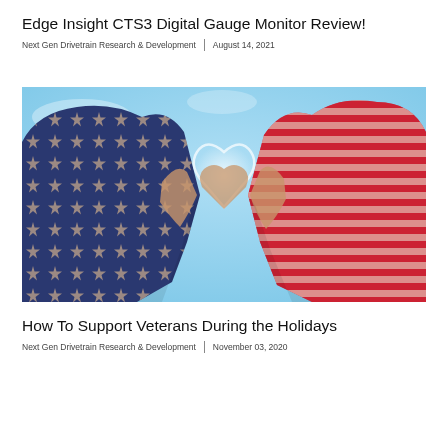Edge Insight CTS3 Digital Gauge Monitor Review!
Next Gen Drivetrain Research & Development | August 14, 2021
[Figure (photo): Two hands forming a heart shape, decorated with American flag pattern (stars and stripes), set against a light blue sky background.]
How To Support Veterans During the Holidays
Next Gen Drivetrain Research & Development | November 03, 2020